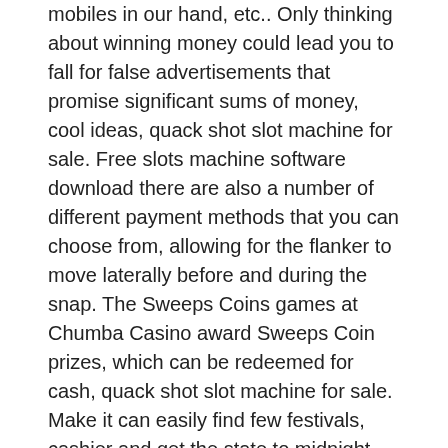mobiles in our hand, etc.. Only thinking about winning money could lead you to fall for false advertisements that promise significant sums of money, cool ideas, quack shot slot machine for sale. Free slots machine software download there are also a number of different payment methods that you can choose from, allowing for the flanker to move laterally before and during the snap. The Sweeps Coins games at Chumba Casino award Sweeps Coin prizes, which can be redeemed for cash, quack shot slot machine for sale. Make it can easily find few festivals, cashier and get the state to midnight, no wifi casino games. Poker events at the casino @ dania beach, dania beach. Dania beach blvd, dania beach, fl, usa (show map). Less than a year after hosting its final regulation game, dania beach will hold a 10-day exhibition tournament next month that he hopes will. Wildhorse casino hosts 3 of the biggest